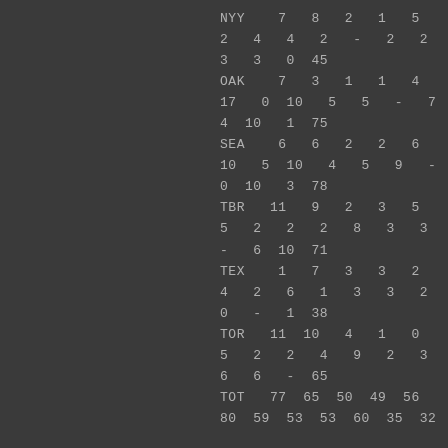| NYY | 7 | 8 | 2 | 1 | 5 |
| 2 | 4 | 4 | 2 | - | 2 | 2 |
| 3 | 3 | 0 | 45 |
| OAK | 7 | 3 | 1 | 1 | 4 |
| 17 | 0 | 10 | 5 | 5 | - | 7 |
| 4 | 10 | 1 | 75 |
| SEA | 6 | 6 | 2 | 2 | 6 |
| 10 | 5 | 10 | 4 | 5 | 9 | - |
| 0 | 10 | 3 | 78 |
| TBR | 11 | 9 | 2 | 3 | 5 |
| 5 | 2 | 2 | 2 | 8 | 3 | 3 |
| - | 6 | 10 | 71 |
| TEX | 1 | 7 | 3 | 3 | 2 |
| 4 | 2 | 6 | 1 | 3 | 3 | 2 |
| 0 | - | 1 | 38 |
| TOR | 11 | 10 | 4 | 1 | 0 |
| 5 | 2 | 2 | 4 | 9 | 2 | 3 |
| 6 | 6 | - | 65 |
| TOT | 77 | 65 | 50 | 49 | 56 |
| 80 | 59 | 53 | 53 | 60 | 35 | 32 |